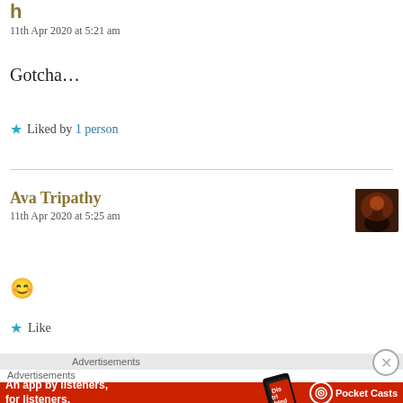h
11th Apr 2020 at 5:21 am
Gotcha…
★ Liked by 1 person
Ava Tripathy
11th Apr 2020 at 5:25 am
😊
★ Like
Advertisements
Advertisements
[Figure (infographic): Pocket Casts advertisement banner: red background, phone image, text 'An app by listeners, for listeners.' with Pocket Casts logo]